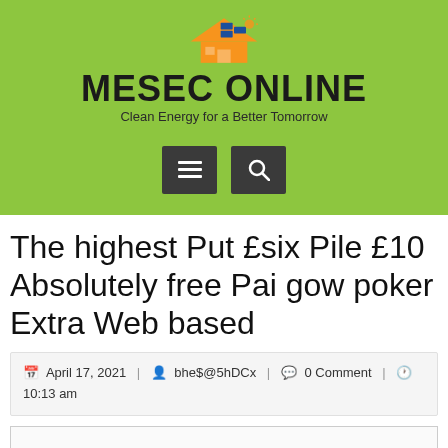MESEC ONLINE — Clean Energy for a Better Tomorrow
The highest Put £six Pile £10 Absolutely free Pai gow poker Extra Web based
April 17, 2021 | bhe$@5hDCx | 0 Comment | 10:13 am
[Figure (other): Content placeholder box]